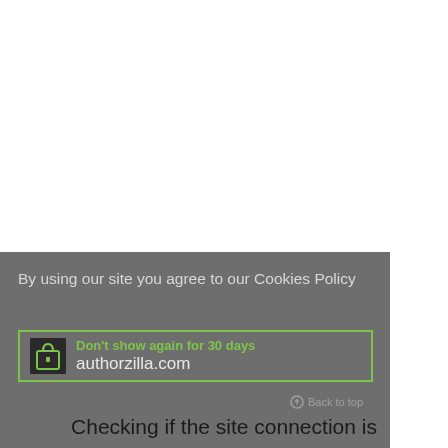By using our site you agree to our Cookies Policy
Don't show again for 30 days
authorzilla.com
Back to top
Checking if the site connection is